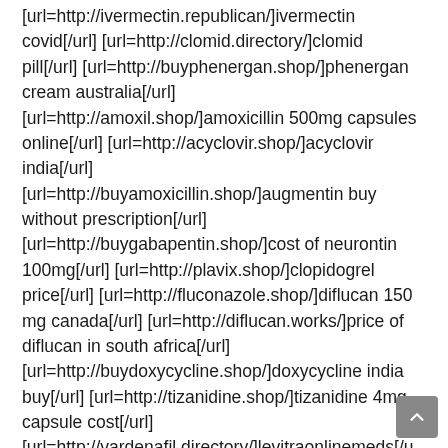[url=http://ivermectin.republican/]ivermectin covid[/url] [url=http://clomid.directory/]clomid pill[/url] [url=http://buyphenergan.shop/]phenergan cream australia[/url] [url=http://amoxil.shop/]amoxicillin 500mg capsules online[/url] [url=http://acyclovir.shop/]acyclovir india[/url] [url=http://buyamoxicillin.shop/]augmentin buy without prescription[/url] [url=http://buygabapentin.shop/]cost of neurontin 100mg[/url] [url=http://plavix.shop/]clopidogrel price[/url] [url=http://fluconazole.shop/]diflucan 150 mg canada[/url] [url=http://diflucan.works/]price of diflucan in south africa[/url] [url=http://buydoxycycline.shop/]doxycycline india buy[/url] [url=http://tizanidine.shop/]tizanidine 4mg capsule cost[/url] [url=http://vardenafil.directory/]levitraonlinemeds[/url] [url=http://neurontin.cfd/]gabapentin 1600 mg[/url]